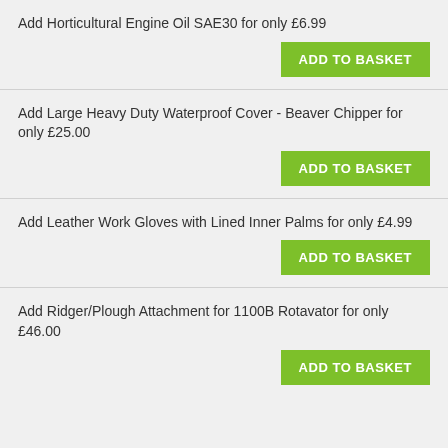Add Horticultural Engine Oil SAE30 for only £6.99
ADD TO BASKET
Add Large Heavy Duty Waterproof Cover - Beaver Chipper for only £25.00
ADD TO BASKET
Add Leather Work Gloves with Lined Inner Palms for only £4.99
ADD TO BASKET
Add Ridger/Plough Attachment for 1100B Rotavator for only £46.00
ADD TO BASKET